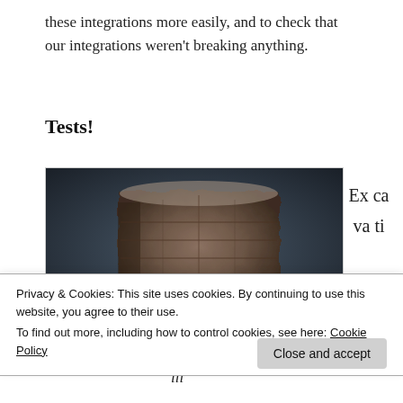these integrations more easily, and to check that our integrations weren't breaking anything.
Tests!
[Figure (photo): Photograph of a roughly-hewn stone or clay rectangular block/artifact on a dark background. Partially visible caption text 'Excavati' on the right side.]
Excavati
Privacy & Cookies: This site uses cookies. By continuing to use this website, you agree to their use.
To find out more, including how to control cookies, see here: Cookie Policy
Close and accept
ili